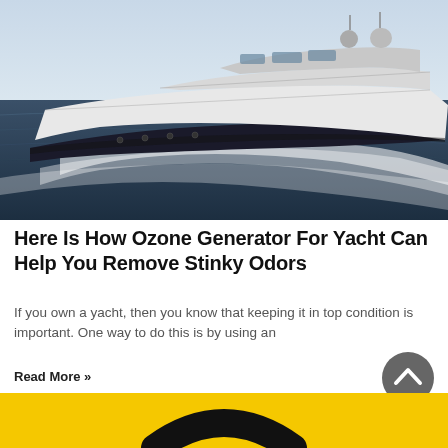[Figure (photo): Large luxury yacht speeding across dark blue ocean water, white hull with dark lower hull, creating white wake, clear sky in background]
Here Is How Ozone Generator For Yacht Can Help You Remove Stinky Odors
If you own a yacht, then you know that keeping it in top condition is important. One way to do this is by using an
Read More »
[Figure (photo): Yellow background with black curved handle/hose visible at bottom, partial view]